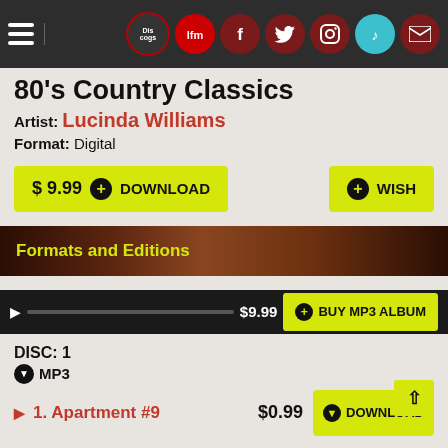Navigation bar with hamburger menu, Discogs, Last.fm, Facebook, Twitter, Instagram, TikTok, Mail icons
80's Country Classics
Artist: Lucinda Williams
Format: Digital
$ 9.99  DOWNLOAD
WISH
Formats and Editions
$9.99  BUY MP3 ALBUM
DISC: 1
MP3
1. Apartment #9
$0.99  DOWNLOAD